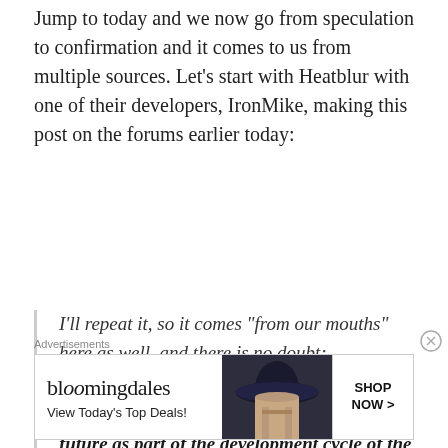Jump to today and we now go from speculation to confirmation and it comes to us from multiple sources. Let's start with Heatblur with one of their developers, IronMike, making this post on the forums earlier today:
I'll repeat it, so it comes "from our mouths" here as well, and there is no doubt: Stay tuned for the A-6E and KA-6 being added to DCS World as AI units in the near future as part of the development cycle of the F-14!
Advertisements
[Figure (other): Bloomingdale's advertisement banner with logo, 'View Today's Top Deals!' text, woman in large hat photo, and 'SHOP NOW >' button]